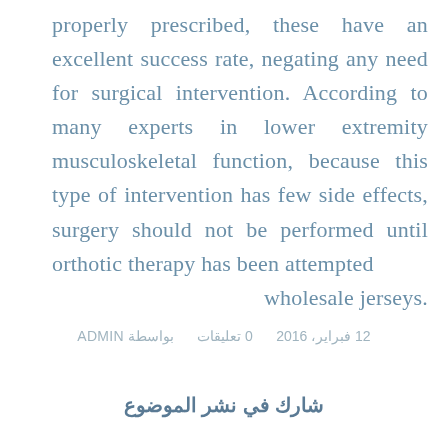properly prescribed, these have an excellent success rate, negating any need for surgical intervention. According to many experts in lower extremity musculoskeletal function, because this type of intervention has few side effects, surgery should not be performed until orthotic therapy has been attempted wholesale jerseys.
12 فبراير، 2016    0 تعليقات    بواسطة ADMIN
شارك في نشر الموضوع